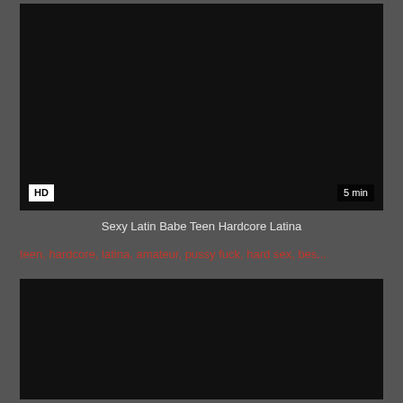[Figure (screenshot): Dark video thumbnail for adult video content, with HD badge bottom left and '5 min' duration badge bottom right]
Sexy Latin Babe Teen Hardcore Latina
teen, hardcore, latina, amateur, pussy fuck, hard sex, bes...
[Figure (screenshot): Second dark video thumbnail, partially visible at bottom of page]